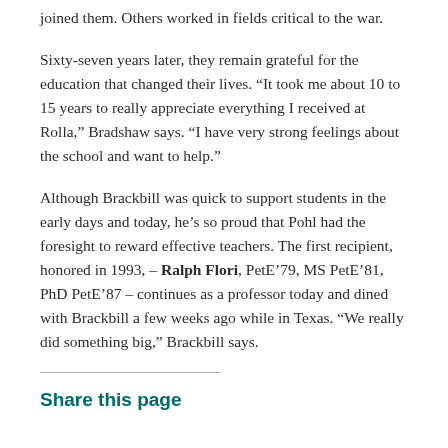joined them. Others worked in fields critical to the war.
Sixty-seven years later, they remain grateful for the education that changed their lives. “It took me about 10 to 15 years to really appreciate everything I received at Rolla,” Bradshaw says. “I have very strong feelings about the school and want to help.”
Although Brackbill was quick to support students in the early days and today, he’s so proud that Pohl had the foresight to reward effective teachers. The first recipient, honored in 1993, – Ralph Flori, PetE’79, MS PetE’81, PhD PetE’87 – continues as a professor today and dined with Brackbill a few weeks ago while in Texas. “We really did something big,” Brackbill says.
Share this page